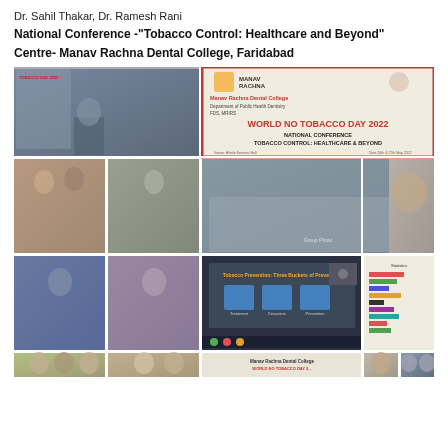Dr. Sahil Thakar, Dr. Ramesh Rani
National Conference -"Tobacco Control: Healthcare and Beyond"
Centre- Manav Rachna Dental College, Faridabad
[Figure (photo): Collage of photographs from the National Conference on Tobacco Control: Healthcare and Beyond, held at Manav Rachna Dental College, Faridabad. Photos show speakers at podium, award ceremonies, group photographs of attendees, online presentation slides (Tobacco prevention buckets), and other conference activities including the World No Tobacco Day 2022 banner.]